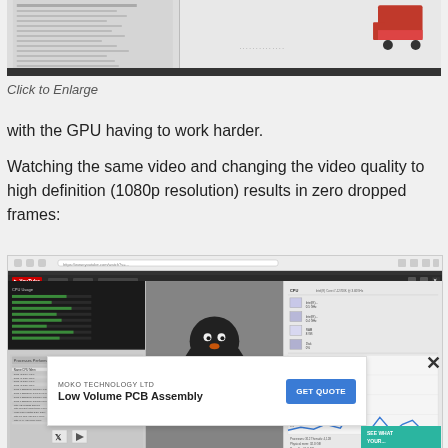[Figure (screenshot): Screenshot of a software application showing CPU performance data and a benchmark interface with a red truck icon on the right side.]
Click to Enlarge
with the GPU having to work harder.
Watching the same video and changing the video quality to high definition (1080p resolution) results in zero dropped frames:
[Figure (screenshot): Screenshot of a web browser showing a YouTube video of a penguin in high definition (1080p), alongside CPU performance monitoring panels showing low CPU usage, with an advertisement overlay for MOKO TECHNOLOGY LTD Low Volume PCB Assembly with a GET QUOTE button.]